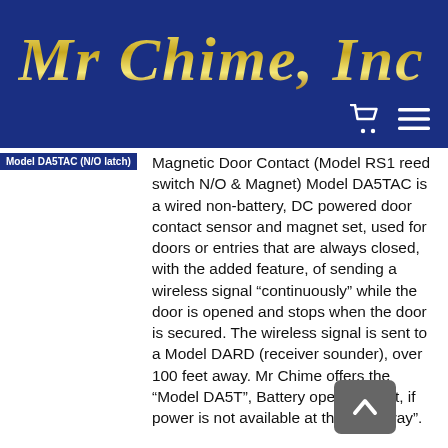Mr Chime, Inc
Model DA5TAC (N/O latch)
Magnetic Door Contact (Model RS1 reed switch N/O & Magnet) Model DA5TAC is a wired non-battery, DC powered door contact sensor and magnet set, used for doors or entries that are always closed, with the added feature, of sending a wireless signal “continuously” while the door is opened and stops when the door is secured. The wireless signal is sent to a Model DARD (receiver sounder), over 100 feet away. Mr Chime offers the “Model DA5T”, Battery operated unit, if power is not available at the entry way”.